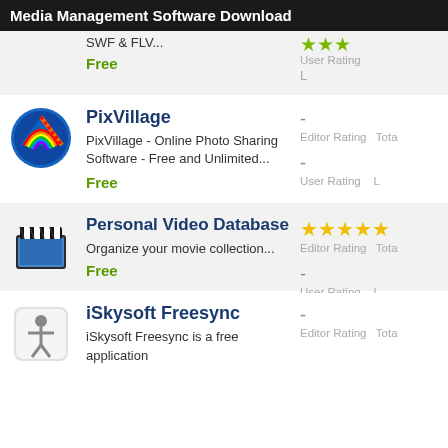Media Management Software Download
SWF & FLV...
Free
User Rating
PixVillage
PixVillage - Online Photo Sharing Software - Free and Unlimited...
Free
Editor Rating
User Rating
Personal Video Database
Organize your movie collection...
Free
Editor Rating
User Rating
iSkysoft Freesync
iSkysoft Freesync is a free application
Editor Rating